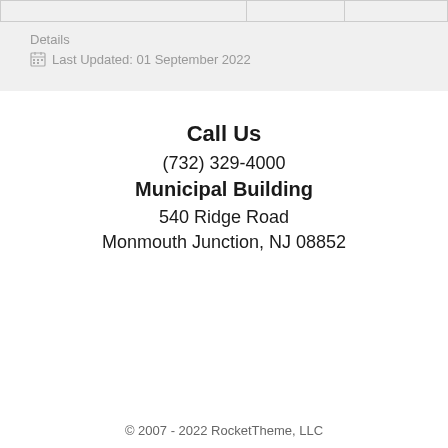|   |   |   |
Details
Last Updated: 01 September 2022
Call Us
(732) 329-4000
Municipal Building
540 Ridge Road
Monmouth Junction, NJ 08852
© 2007 - 2022 RocketTheme, LLC